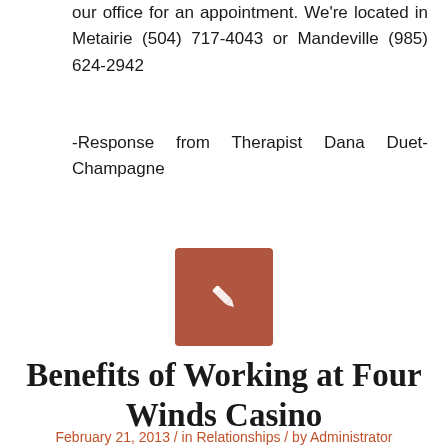our office for an appointment. We're located in Metairie (504) 717-4043 or Mandeville (985) 624-2942
-Response from Therapist Dana Duet-Champagne
[Figure (illustration): Reddish-brown square icon with a white pencil/edit symbol in the center]
Benefits of Working at Four Winds Casino
February 21, 2013 / in Relationships / by Administrator